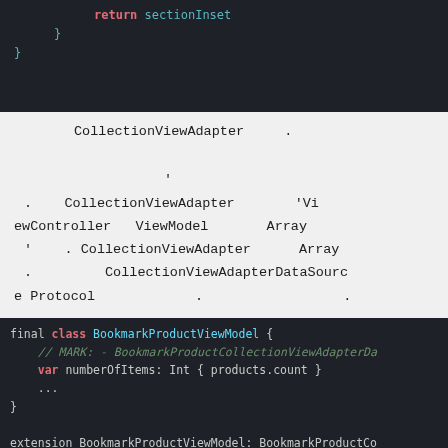[Figure (screenshot): Code snippet showing Swift return statement with sectionInset and closing braces on dark background]
CollectionViewAdapter . , . CollectionViewAdapter 'ViewController ViewModel Array ' . CollectionViewAdapter Array . CollectionViewAdapterDataSource Protocol . .
[Figure (screenshot): Swift code showing BookmarkProductViewModel class with class keyword, MARK comment, var numberOfItems property, extension conformance and fetchNextItemsIfNeeded function]